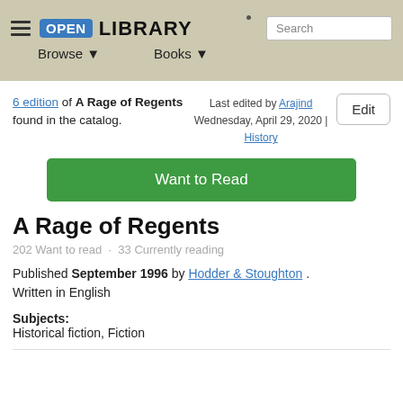Open Library — Browse | Books | Search
6 edition of A Rage of Regents found in the catalog.
Last edited by Arajind
Wednesday, April 29, 2020 | History
Edit
Want to Read
A Rage of Regents
202 Want to read · 33 Currently reading
Published September 1996 by Hodder & Stoughton .
Written in English
Subjects:
Historical fiction, Fiction